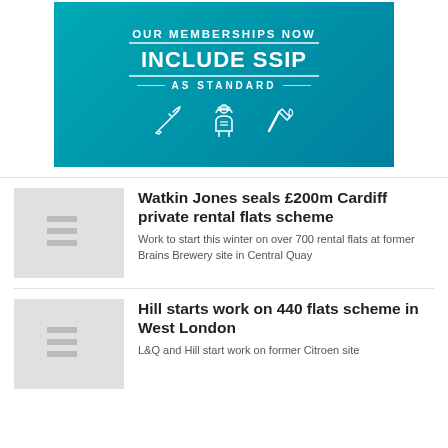[Figure (illustration): Teal/cyan banner advertisement reading 'OUR MEMBERSHIPS NOW INCLUDE SSIP AS STANDARD' with construction worker icons (trowel, person with hard hat, hammer)]
Watkin Jones seals £200m Cardiff private rental flats scheme
Work to start this winter on over 700 rental flats at former Brains Brewery site in Central Quay
Hill starts work on 440 flats scheme in West London
L&Q and Hill start work on former Citroen site